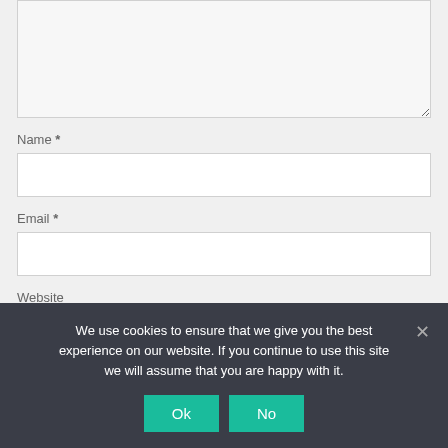[Figure (screenshot): A large textarea input field (comment box) partially visible at the top of the page, with a light gray background and thin border, with a resize handle at the bottom-right corner.]
Name *
[Figure (screenshot): Name input field — a white rectangular text input box with thin gray border.]
Email *
[Figure (screenshot): Email input field — a white rectangular text input box with thin gray border.]
Website
[Figure (screenshot): Website input field — a white rectangular text input box with thin gray border, partially visible.]
We use cookies to ensure that we give you the best experience on our website. If you continue to use this site we will assume that you are happy with it.
Ok
No